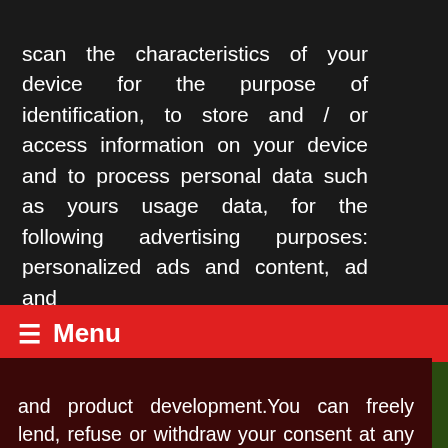scan the characteristics of your device for the purpose of identification, to store and / or access information on your device and to process personal data such as yours usage data, for the following advertising purposes: personalized ads and content, ad and
≡ Menu
Category: WhatsApp Text
and product development.You can freely lend, refuse or withdraw your consent at any time by accessing the preferences panel.You can consent to the use of these technologies by using the Accept button.Can we use your data to serve you personalized ads? Read more about your privacy HERE
Decline
Got it !
[Figure (photo): Christmas decorations with green Christmas tree branches, ornaments and Santa Claus figure at the bottom of the page]